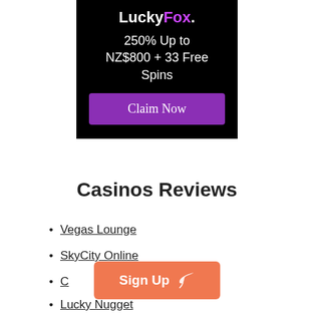[Figure (illustration): LuckyFox casino banner with black background. Logo 'LuckyFox.' at top (Fox in purple), promo text '250% Up to NZ$800 + 33 Free Spins', and a purple 'Claim Now' button.]
Casinos Reviews
Vegas Lounge
SkyCity Online
Casino (partially obscured)
Lucky Nugget
[Figure (illustration): Orange 'Sign Up' button with feather icon overlaying the list items]